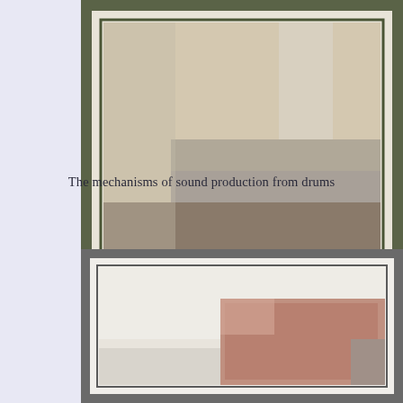[Figure (photo): Top portion of a framed illustration or photo showing what appears to be a drum or percussion instrument, partially cropped. The frame has a dark olive/green border with a lighter mat and a thin inner border.]
The mechanisms of sound production from drums
[Figure (photo): Bottom portion of another framed illustration or photo showing what appears to be a drum or percussion instrument, partially cropped. The frame has a dark gray border with a white mat.]